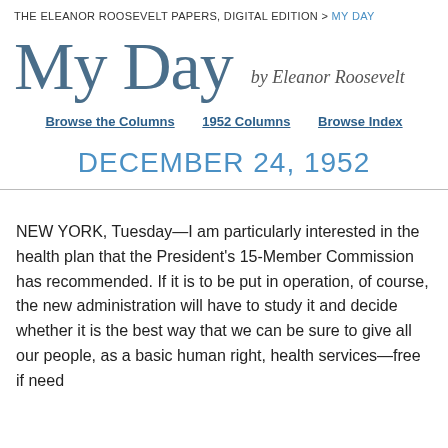The Eleanor Roosevelt Papers, Digital Edition > My Day
My Day by Eleanor Roosevelt
Browse the Columns   1952 Columns   Browse Index
DECEMBER 24, 1952
NEW YORK, Tuesday—I am particularly interested in the health plan that the President's 15-Member Commission has recommended. If it is to be put in operation, of course, the new administration will have to study it and decide whether it is the best way that we can be sure to give all our people, as a basic human right, health services—free if need